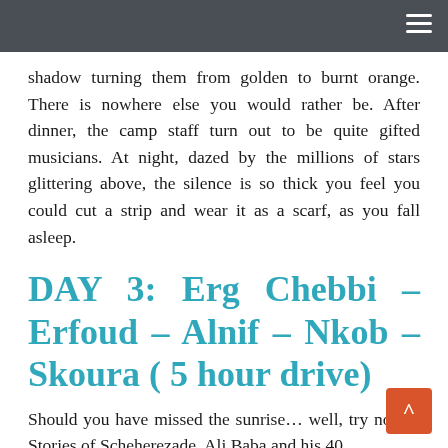≡
shadow turning them from golden to burnt orange. There is nowhere else you would rather be. After dinner, the camp staff turn out to be quite gifted musicians. At night, dazed by the millions of stars glittering above, the silence is so thick you feel you could cut a strip and wear it as a scarf, as you fall asleep.
DAY 3: Erg Chebbi – Erfoud – Alnif – Nkob – Skoura ( 5 hour drive)
Should you have missed the sunrise… well, try not to. Stories of Scheherezade, Ali Baba and his 40